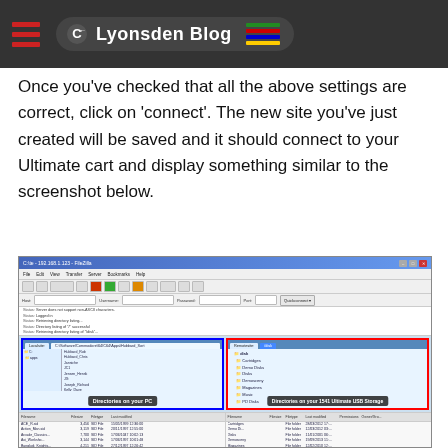Lyonsden Blog
Once you've checked that all the above settings are correct, click on 'connect'. The new site you've just created will be saved and it should connect to your Ultimate cart and display something similar to the screenshot below.
[Figure (screenshot): FileZilla FTP client screenshot showing two panes: left pane labeled 'Directories on your PC' (blue border) and right pane labeled 'Directories on your 1541 Ultimate USB Storage' (red border), with file listings in both panes.]